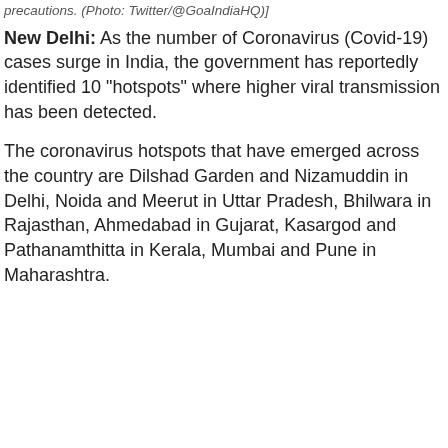precautions. (Photo: Twitter/@GoaIndiaHQ)]
New Delhi: As the number of Coronavirus (Covid-19) cases surge in India, the government has reportedly identified 10 "hotspots" where higher viral transmission has been detected.
The coronavirus hotspots that have emerged across the country are Dilshad Garden and Nizamuddin in Delhi, Noida and Meerut in Uttar Pradesh, Bhilwara in Rajasthan, Ahmedabad in Gujarat, Kasargod and Pathanamthitta in Kerala, Mumbai and Pune in Maharashtra.